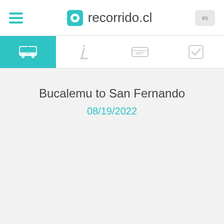recorrido.cl
[Figure (screenshot): Navigation tab bar with bus, info, ticket, and checkmark icons]
Bucalemu to San Fernando
08/19/2022